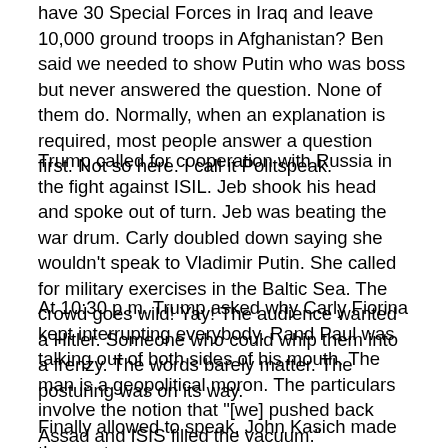have 30 Special Forces in Iraq and leave 10,000 ground troops in Afghanistan? Ben said we needed to show Putin who was boss but never answered the question. None of them do. Normally, when an explanation is required, most people answer a question first. Not so here. I call it Politspeak.
Trump called for cooperation with Russia in the fight against ISIL. Jeb shook his head and spoke out of turn. Jeb was beating the war drum. Carly doubled down saying she wouldn't speak to Vladimir Putin. She called for military exercises in the Baltic Sea. The crowd goes wild! Yay! The audience wanted a Hitler. Someone who could whip them into a frenzy. The words barely matter. The posturing was on its way.
At 10:30 p.m. Trump asked why Carly Fiorina kept interrupting everybody. Rand Paul was talking out of both sides of his mouth. The man is a geopolitical moron. The particulars involve the notion that "[we] pushed back Assad and ISIS filled the vacuum."
Finally allowed to speak, John Kasich made the most sense